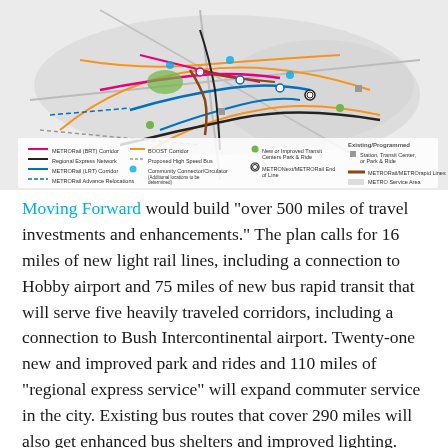METRONext
[Figure (map): METRONext transit map of Houston area showing proposed light rail lines (METRORail BRT Corridor in pink), Regional Express Network in black, METRORail LRT Corridor in blue, METRORail Advance Relocations in dashed blue, BOOST Corridors in orange, Proposed High Speed Rail in dashed lines, Community Connector/Circulator locations in teal dots, New or Improved Transit Centers Park & Ride in green dots, METRONext/METRORail End of Line in double circles, and existing/programmed stations in gray squares. METRORail/METROrapid Lines shown in brown, METRO Service Area in light gray.]
Moving Forward would build "over 500 miles of travel investments and enhancements." The plan calls for 16 miles of new light rail lines, including a connection to Hobby airport and 75 miles of new bus rapid transit that will serve five heavily traveled corridors, including a connection to Bush Intercontinental airport. Twenty-one new and improved park and rides and 110 miles of "regional express service" will expand commuter service in the city. Existing bus routes that cover 290 miles will also get enhanced bus shelters and improved lighting.